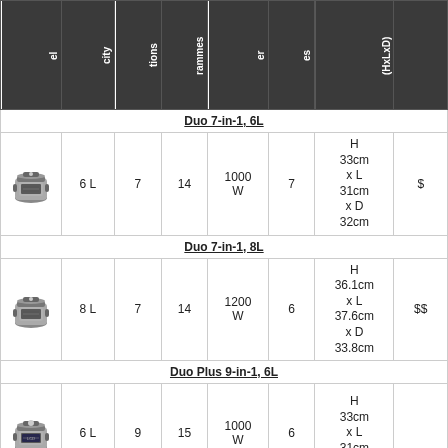| el | city | tions | rammes | er | es | (HxLxD) |  |
| --- | --- | --- | --- | --- | --- | --- | --- |
| [subheader] | Duo 7-in-1, 6L |  |  |  |  |  |  |
| [img] | 6 L | 7 | 14 | 1000 W | 7 | H 33cm x L 31cm x D 32cm | $ |
| [subheader] | Duo 7-in-1, 8L |  |  |  |  |  |  |
| [img] | 8 L | 7 | 14 | 1200 W | 6 | H 36.1cm x L 37.6cm x D 33.8cm | $$ |
| [subheader] | Duo Plus 9-in-1, 6L |  |  |  |  |  |  |
| [img] | 6 L | 9 | 15 | 1000 W | 6 | H 33cm x L 31cm x D |  |